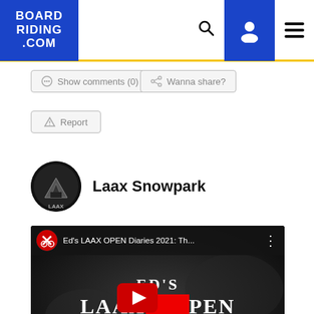BOARD RIDING .COM — navigation bar with search, user, and menu icons
Show comments (0)
Wanna share?
Report
Laax Snowpark
[Figure (screenshot): YouTube video thumbnail for 'Ed's LAAX OPEN Diaries 2021' embedded video player with play button overlay showing text: ED'S LAAX OPEN DIARIES 2021]